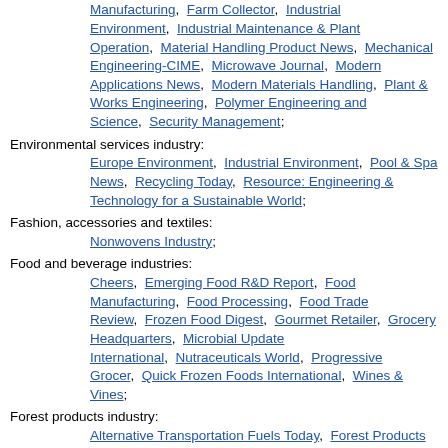Circuits Assembly, Designfax, Diesel Progress North American Edition, EE-Evaluation Engineering, Electro Manufacturing, Farm Collector, Industrial Environment, Industrial Maintenance & Plant Operation, Material Handling Product News, Mechanical Engineering-CIME, Microwave Journal, Modern Applications News, Modern Materials Handling, Plant & Works Engineering, Polymer Engineering and Science, Security Management;
Environmental services industry: Europe Environment, Industrial Environment, Pool & Spa News, Recycling Today, Resource: Engineering & Technology for a Sustainable World;
Fashion, accessories and textiles: Nonwovens Industry;
Food and beverage industries: Cheers, Emerging Food R&D Report, Food Manufacturing, Food Processing, Food Trade Review, Frozen Food Digest, Gourmet Retailer, Grocery Headquarters, Microbial Update International, Nutraceuticals World, Progressive Grocer, Quick Frozen Foods International, Wines & Vines;
Forest products industry: Alternative Transportation Fuels Today, Forest Products Journal, Solutions - for People, Processes and Paper, Wood & Wood Products;
Health care industry: Clinical Psychiatry News, Contemporary Long Term Care, Health Management Technology, Health Services Research, Hospital Law's Regan Report, Internal Medicine News, Journal of Managed...